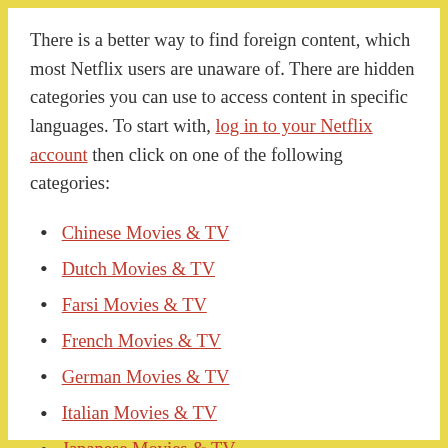There is a better way to find foreign content, which most Netflix users are unaware of. There are hidden categories you can use to access content in specific languages. To start with, log in to your Netflix account then click on one of the following categories:
Chinese Movies & TV
Dutch Movies & TV
Farsi Movies & TV
French Movies & TV
German Movies & TV
Italian Movies & TV
Japanese Movies & TV
Latin American Movies & TV
Russian Movies & TV